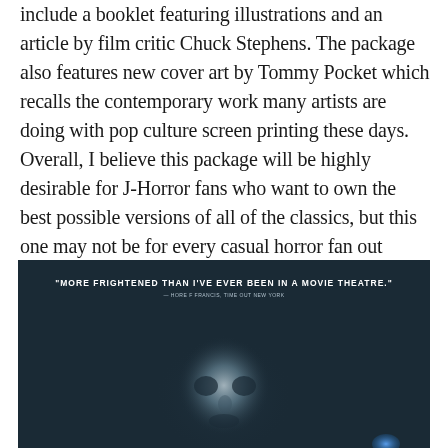include a booklet featuring illustrations and an article by film critic Chuck Stephens. The package also features new cover art by Tommy Pocket which recalls the contemporary work many artists are doing with pop culture screen printing these days. Overall, I believe this package will be highly desirable for J-Horror fans who want to own the best possible versions of all of the classics, but this one may not be for every casual horror fan out there.
[Figure (photo): Dark movie screenshot or promotional image with blurred ghostly face in center, teal/dark blue tones, with white text quote 'MORE FRIGHTENED THAN I'VE EVER BEEN IN A MOVIE THEATRE.' and attribution 'Time Out New York' below.]